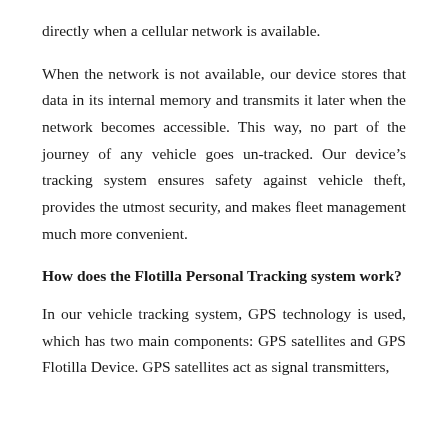directly when a cellular network is available.
When the network is not available, our device stores that data in its internal memory and transmits it later when the network becomes accessible. This way, no part of the journey of any vehicle goes un-tracked. Our device’s tracking system ensures safety against vehicle theft, provides the utmost security, and makes fleet management much more convenient.
How does the Flotilla Personal Tracking system work?
In our vehicle tracking system, GPS technology is used, which has two main components: GPS satellites and GPS Flotilla Device. GPS satellites act as signal transmitters,